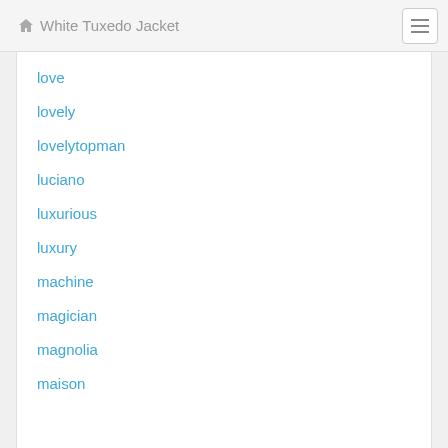White Tuxedo Jacket
love
lovely
lovelytopman
luciano
luxurious
luxury
machine
magician
magnolia
maison